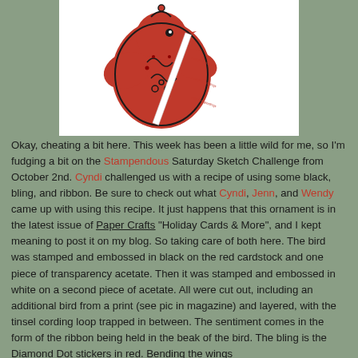[Figure (photo): A decorative red bird ornament with black embossed details and swirling patterns, with a white ribbon hanging from it with text. Set against a white background.]
Okay, cheating a bit here. This week has been a little wild for me, so I'm fudging a bit on the Stampendous Saturday Sketch Challenge from October 2nd. Cyndi challenged us with a recipe of using some black, bling, and ribbon. Be sure to check out what Cyndi, Jenn, and Wendy came up with using this recipe. It just happens that this ornament is in the latest issue of Paper Crafts "Holiday Cards & More", and I kept meaning to post it on my blog. So taking care of both here. The bird was stamped and embossed in black on the red cardstock and one piece of transparency acetate. Then it was stamped and embossed in white on a second piece of acetate. All were cut out, including an additional bird from a print (see pic in magazine) and layered, with the tinsel cording loop trapped in between. The sentiment comes in the form of the ribbon being held in the beak of the bird. The bling is the Diamond Dot stickers in red. Bending the wings